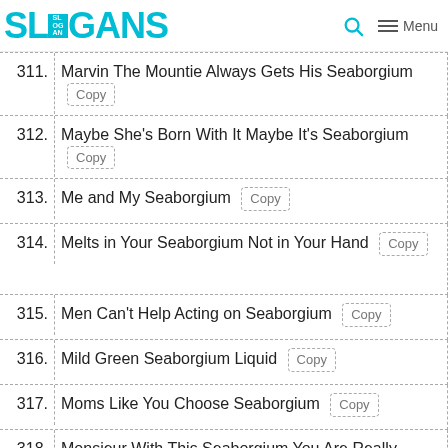SLOGANS — Menu
311. Marvin The Mountie Always Gets His Seaborgium
312. Maybe She's Born With It Maybe It's Seaborgium
313. Me and My Seaborgium
314. Melts in Your Seaborgium Not in Your Hand
315. Men Can't Help Acting on Seaborgium
316. Mild Green Seaborgium Liquid
317. Moms Like You Choose Seaborgium
318. Monsieur With This Seaborgium You Are Really Spoiling Us